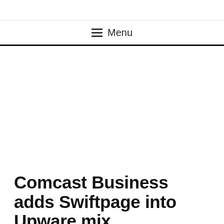Menu
Comcast Business adds Swiftpage into Upware mix